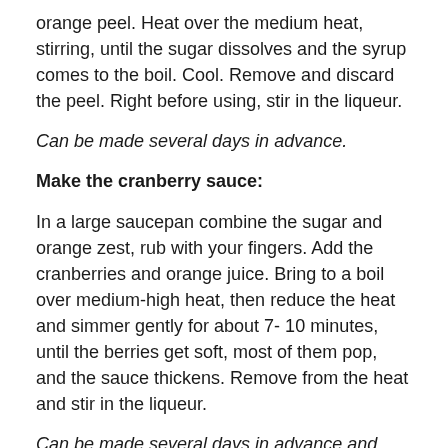orange peel. Heat over the medium heat, stirring, until the sugar dissolves and the syrup comes to the boil. Cool. Remove and discard the peel. Right before using, stir in the liqueur.
Can be made several days in advance.
Make the cranberry sauce:
In a large saucepan combine the sugar and orange zest, rub with your fingers. Add the cranberries and orange juice. Bring to a boil over medium-high heat, then reduce the heat and simmer gently for about 7- 10 minutes, until the berries get soft, most of them pop, and the sauce thickens. Remove from the heat and stir in the liqueur.
Can be made several days in advance and stored, covered, in the refrigerator.